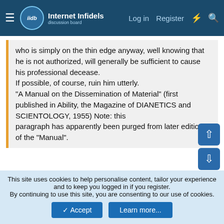Internet Infidels — Log in | Register
who is simply on the thin edge anyway, well knowing that he is not authorized, will generally be sufficient to cause his professional decease.
If possible, of course, ruin him utterly.
"A Manual on the Dissemination of Material" (first published in Ability, the Magazine of DIANETICS and SCIENTOLOGY, 1955) Note: this paragraph has apparently been purged from later editions of the "Manual".
He may have been a self aggrandizing, narcissistic, habitual liar, but he did get a couple ideas right. This law doesn't have to say anything that would specifically prevent the teaching of history of racism. It is vague enough for the crazies and racists to start lawsuits. And even if every lawsuit fails, they are pressure on
This site uses cookies to help personalise content, tailor your experience and to keep you logged in if you register.
By continuing to use this site, you are consenting to our use of cookies.